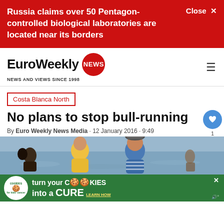Russia claims over 50 Pentagon-controlled biological laboratories are located near its borders
EuroWeekly NEWS · NEWS AND VIEWS SINCE 1998
Costa Blanca North
No plans to stop bull-running
By Euro Weekly News Media · 12 January 2016 · 9:49
[Figure (photo): People at the water's edge, beach scene with figures in colourful clothing]
turn your COOKIES into a CURE LEARN HOW